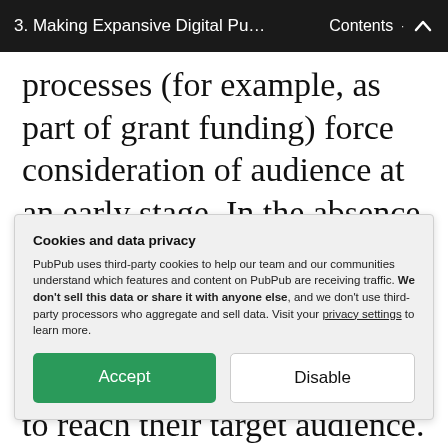3. Making Expansive Digital Publi... · Contents ↑
processes (for example, as part of grant funding) force consideration of audience at an early stage. In the absence of these external mechanisms, however, scholars have few prompts to plan early and carefully how to reach their target audience. To be fair, audience and design considerations are not typically the
Cookies and data privacy

PubPub uses third-party cookies to help our team and our communities understand which features and content on PubPub are receiving traffic. We don't sell this data or share it with anyone else, and we don't use third-party processors who aggregate and sell data. Visit your privacy settings to learn more.

[Accept] [Disable]